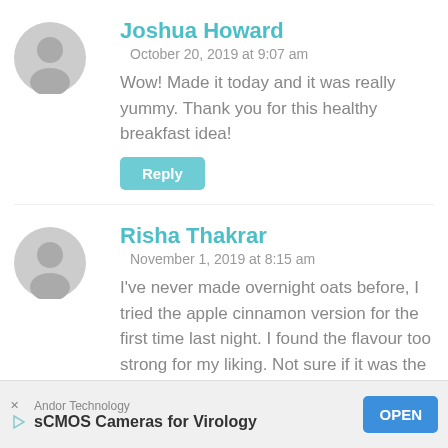Joshua Howard
October 20, 2019 at 9:07 am
Wow! Made it today and it was really yummy. Thank you for this healthy breakfast idea!
Risha Thakrar
November 1, 2019 at 8:15 am
I've never made overnight oats before, I tried the apple cinnamon version for the first time last night. I found the flavour too strong for my liking. Not sure if it was the yoghurt or peanut butter which gave it quite a strong flavour. Think will experiment
Andor Technology — sCMOS Cameras for Virology — OPEN